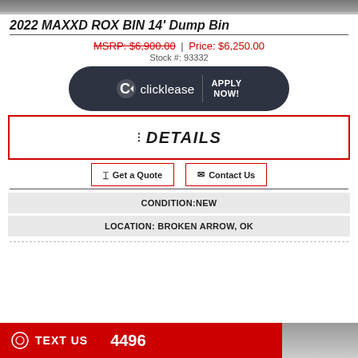[Figure (photo): Top image of the MAXXD ROX BIN dump bin trailer (partially visible, cropped at top of page)]
2022 MAXXD ROX BIN 14' Dump Bin
MSRP: $6,900.00 | Price: $6,250.00
Stock #: 93332
[Figure (logo): Clicklease logo button with 'APPLY NOW!' text on dark background with rounded corners]
≔ DETAILS
Get a Quote
Contact Us
CONDITION:NEW
LOCATION: BROKEN ARROW, OK
[Figure (photo): Bottom red bar with TEXT US label and phone number 4496, partial trailer image on right]